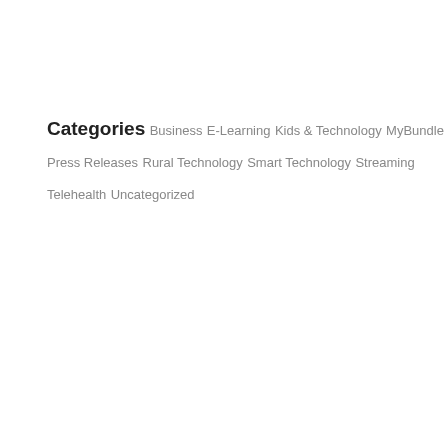Categories
Business
E-Learning
Kids & Technology
MyBundle
Press Releases
Rural Technology
Smart Technology
Streaming
Telehealth
Uncategorized